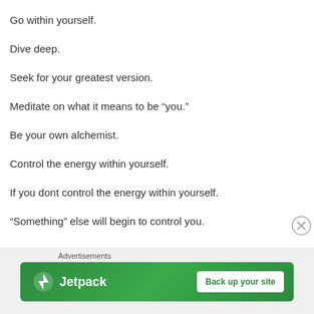Go within yourself.
Dive deep.
Seek for your greatest version.
Meditate on what it means to be “you.”
Be your own alchemist.
Control the energy within yourself.
If you dont control the energy within yourself.
“Something” else will begin to control you.
[Figure (other): Jetpack advertisement banner with logo and 'Back up your site' button on green background]